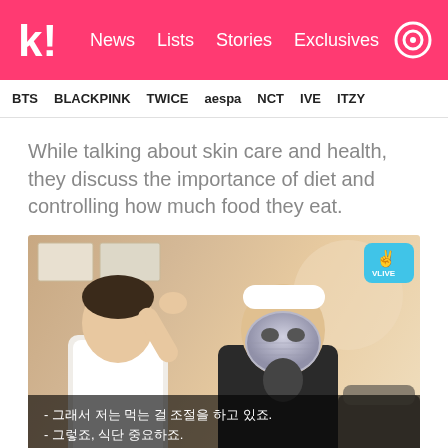K! News Lists Stories Exclusives
BTS BLACKPINK TWICE aespa NCT IVE ITZY
While talking about skin care and health, they discuss the importance of diet and controlling how much food they eat.
[Figure (photo): Two people sitting together; one wearing a white shirt and the other wearing a black shirt with a silver/foil face mask on their face and a white headband. Korean subtitles visible at bottom: '- 그래서 저는 먹는 걸 조절을 하고 있죠. - 그렇죠, 식단 중요하죠.' A V LIVE logo badge is in the upper right corner.]